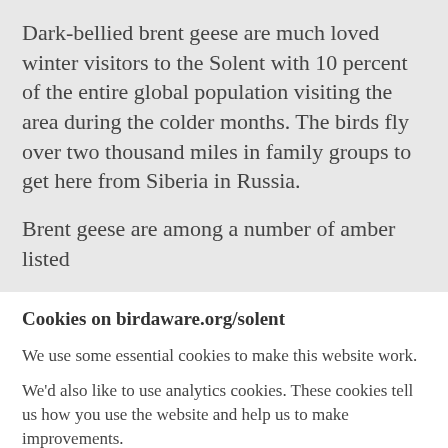Dark-bellied brent geese are much loved winter visitors to the Solent with 10 percent of the entire global population visiting the area during the colder months. The birds fly over two thousand miles in family groups to get here from Siberia in Russia.
Brent geese are among a number of amber listed
Cookies on birdaware.org/solent
We use some essential cookies to make this website work.
We'd also like to use analytics cookies. These cookies tell us how you use the website and help us to make improvements.
Read our cookie policy